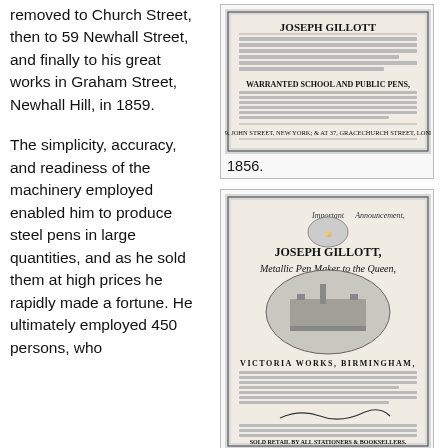removed to Church Street, then to 59 Newhall Street, and finally to his great works in Graham Street, Newhall Hill, in 1859.
The simplicity, accuracy, and readiness of the machinery employed enabled him to produce steel pens in large quantities, and as he sold them at high prices he rapidly made a fortune. He ultimately employed 450 persons, who
[Figure (photo): Victorian advertisement for Joseph Gillott pen maker, 1856]
1856.
[Figure (photo): Victorian advertisement for Joseph Gillott, Metallic Pen Maker to the Queen, Victoria Works Birmingham, 1867]
1867.